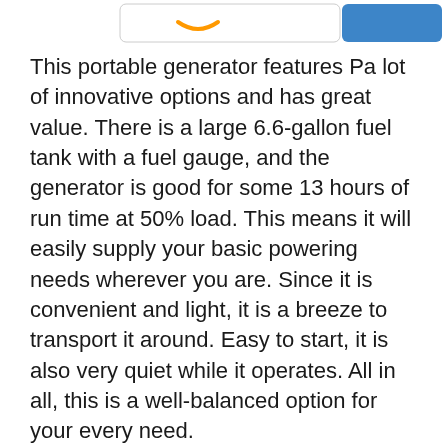[Figure (screenshot): Partial view of an Amazon search bar and a blue button at the top of the page]
This portable generator features Pa lot of innovative options and has great value. There is a large 6.6-gallon fuel tank with a fuel gauge, and the generator is good for some 13 hours of run time at 50% load. This means it will easily supply your basic powering needs wherever you are. Since it is convenient and light, it is a breeze to transport it around. Easy to start, it is also very quiet while it operates. All in all, this is a well-balanced option for your every need.
This is only one of the portable generators on the market. Click here to see some other high-quality portable generators and compare the models to find the best one for